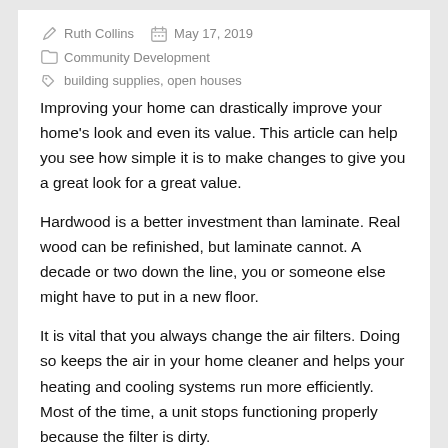✏ Ruth Collins   📅 May 17, 2019
🗂 Community Development
🏷 building supplies, open houses
Improving your home can drastically improve your home's look and even its value. This article can help you see how simple it is to make changes to give you a great look for a great value.
Hardwood is a better investment than laminate. Real wood can be refinished, but laminate cannot. A decade or two down the line, you or someone else might have to put in a new floor.
It is vital that you always change the air filters. Doing so keeps the air in your home cleaner and helps your heating and cooling systems run more efficiently. Most of the time, a unit stops functioning properly because the filter is dirty.
When doing any projects that are near or involve a gas line, it is imperative that you shut the line down before beginning. You